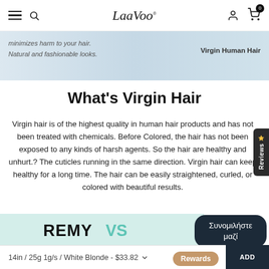LaaVoo — navigation bar with hamburger, search, logo, account, cart (0)
[Figure (photo): Banner with italic text: 'minimizes harm to your hair. Natural and fashionable looks.' and 'Virgin Human Hair' on right]
What's Virgin Hair
Virgin hair is of the highest quality in human hair products and has not been treated with chemicals. Before Colored, the hair has not been exposed to any kinds of harsh agents. So the hair are healthy and unhurt.? The cuticles running in the same direction. Virgin hair can keep healthy for a long time. The hair can be easily straightened, curled, or colored with beautiful results.
REMY VS
Συνομιλήστε μαζί
14in / 25g 1g/s / White Blonde - $33.82